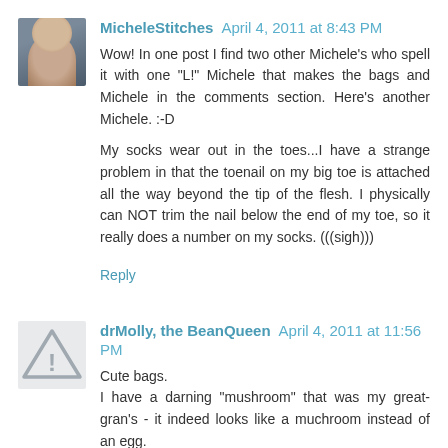[Figure (photo): Profile photo of MicheleStitches, a woman with dark hair]
MicheleStitches April 4, 2011 at 8:43 PM
Wow! In one post I find two other Michele's who spell it with one "L!" Michele that makes the bags and Michele in the comments section. Here's another Michele. :-D

My socks wear out in the toes...I have a strange problem in that the toenail on my big toe is attached all the way beyond the tip of the flesh. I physically can NOT trim the nail below the end of my toe, so it really does a number on my socks. (((sigh)))
Reply
[Figure (illustration): Generic avatar/warning triangle icon for drMolly the BeanQueen]
drMolly, the BeanQueen April 4, 2011 at 11:56 PM
Cute bags.
I have a darning "mushroom" that was my great-gran's - it indeed looks like a muchroom instead of an egg.
I would like to have an egg, too, so keep looking for one - well, an antique one as one can get new ones now. I